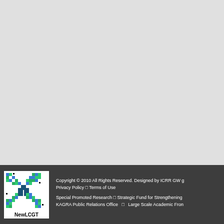[Figure (logo): NewLCGT logo with colorful pixel/checker X pattern and 'NewLCGT' text below]
Copyright © 2010 All Rights Reserved. Designed by ICRR GW g Privacy Policy □ Terms of Use Special Promoted Research □ Strategic Fund for Strengthening KAGRA Public Relations Office □ Large Scale Academic Fron